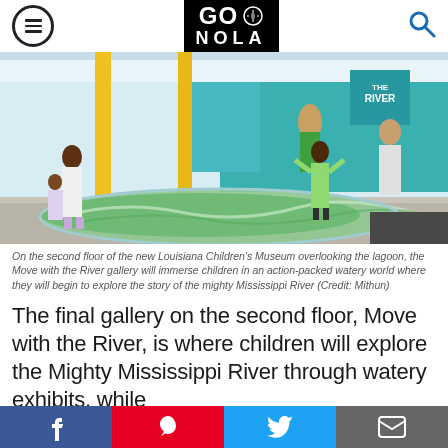GO NOLA
[Figure (photo): Interior of the Louisiana Children's Museum showing families and children exploring the Move with the River gallery, featuring a large floor map display of the Mississippi River delta region with green terrain features, yellow pillars, and a teal-colored wall in the background with 'The River' signage.]
On the second floor of the new Louisiana Children's Museum overlooking the lagoon, the Move with the River gallery will immerse children in an action-packed watery world where they will begin to explore the story of the mighty Mississippi River (Credit: Mithun)
The final gallery on the second floor, Move with the River, is where children will explore the Mighty Mississippi River through watery exhibits, while following the journey from the region's past
f  P  Twitter  Email